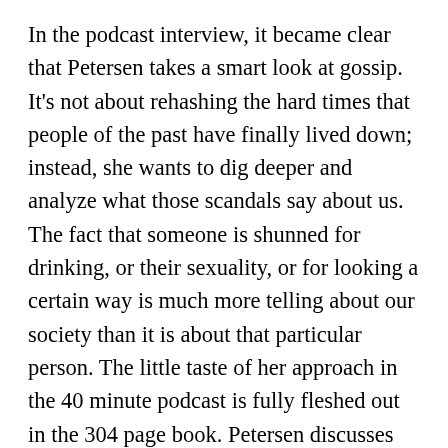In the podcast interview, it became clear that Petersen takes a smart look at gossip. It's not about rehashing the hard times that people of the past have finally lived down; instead, she wants to dig deeper and analyze what those scandals say about us. The fact that someone is shunned for drinking, or their sexuality, or for looking a certain way is much more telling about our society than it is about that particular person. The little taste of her approach in the 40 minute podcast is fully fleshed out in the 304 page book. Petersen discusses the interesting lives of the likes of Mary Pickford (a silent movie actress from the turn of the century), James Dean, and many a star in between. Although most of the stars were people I had heard of, their respective